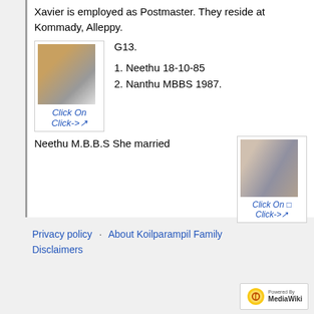Xavier is employed as Postmaster. They reside at Kommady, Alleppy.
[Figure (photo): Two people standing together, one in yellow outfit]
Click On
Click->
G13.
1. Neethu 18-10-85
2. Nanthu MBBS 1987.
Neethu M.B.B.S She married
[Figure (photo): Group of people at a formal occasion]
Click On
Click->
Privacy policy
About Koilparampil Family
Disclaimers
[Figure (logo): Powered by MediaWiki logo]